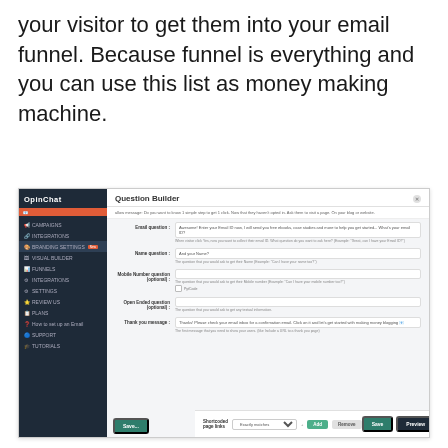your visitor to get them into your email funnel. Because funnel is everything and you can use this list as money making machine.
[Figure (screenshot): Screenshot of OpinChat Question Builder interface showing a dark sidebar navigation with menu items (Campaigns, Integrations, Branding Settings, Visual Builder, Funnels, Integrations, Settings, Review Us, Plans, How to set up an Email, Support, Tutorials) and a main content area with form fields for Email question, Name question, Mobile Number question (optional), Open Ended question (optional), Thank you message, and Shortcoded page links with Add/Remove buttons, plus Save and Preview buttons at the bottom.]